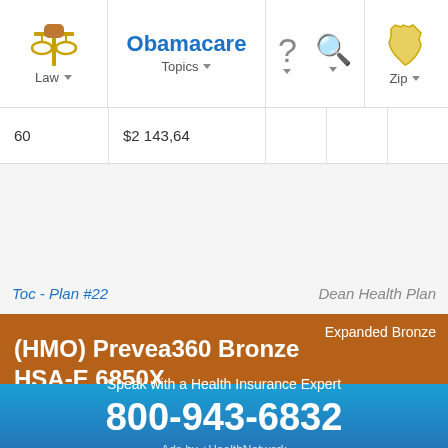Law | Obamacare Topics | ? | Search | Zip
| 60 | $2,143.64 |  |  |  |
(HMO) Prevea360 Bronze HSA-E 6850X — Expanded Bronze
Toc - Plan #22   Dean Health Plan
Summary of Benefits and Coverage
Plan Brochure
Speak with a Health Insurance Expert
800-943-6832
Ads by +HealthNetwork